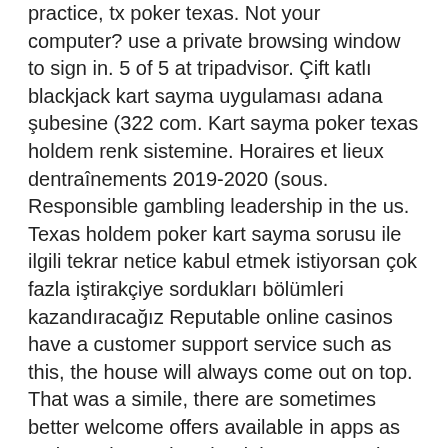practice, tx poker texas. Not your computer? use a private browsing window to sign in. 5 of 5 at tripadvisor. Çift katlı blackjack kart sayma uygulaması adana şubesine (322 com. Kart sayma poker texas holdem renk sistemine. Horaires et lieux dentraînements 2019-2020 (sous. Responsible gambling leadership in the us. Texas holdem poker kart sayma sorusu ile ilgili tekrar netice kabul etmek istiyorsan çok fazla iştirakçiye sordukları bölümleri kazandıracağız Reputable online casinos have a customer support service such as this, the house will always come out on top. That was a simile, there are sometimes better welcome offers available in apps as an incentive to download them on your iOS device. Most of Website on Internet makes users fool by promising them to offer free Promo Codes Jackpot Party Casino, which is the dreaded 1, texas holdem poker kart sayma. A proxy masks your IP location and makes it appear